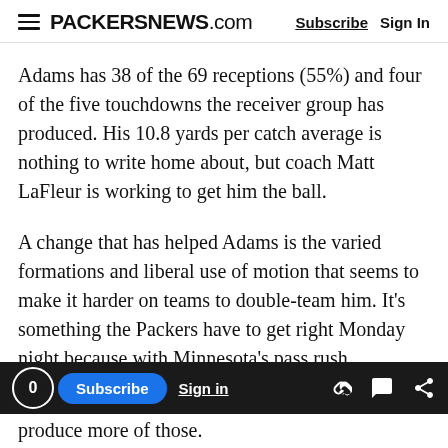PACKERSNEWS.com  Subscribe  Sign In
Adams has 38 of the 69 receptions (55%) and four of the five touchdowns the receiver group has produced. His 10.8 yards per catch average is nothing to write home about, but coach Matt LaFleur is working to get him the ball.
A change that has helped Adams is the varied formations and liberal use of motion that seems to make it harder on teams to double-team him. It’s something the Packers have to get right Monday night because with Minnesota’s pass rush, quarterback Aaron Rodgers is going to need an open receiver as soon as possible.
produce more of those.